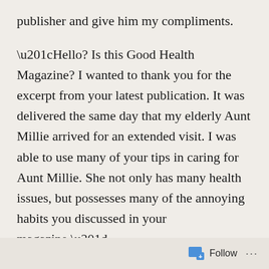publisher and give him my compliments.
“Hello? Is this Good Health Magazine? I wanted to thank you for the excerpt from your latest publication. It was delivered the same day that my elderly Aunt Millie arrived for an extended visit. I was able to use many of your tips in caring for Aunt Millie. She not only has many health issues, but possesses many of the annoying habits you discussed in your magazine.”
“But, Ma’am,” he said, “the magazine is not for…”
“Don’t interrupt me, Mister. I especially liked your
Follow •••